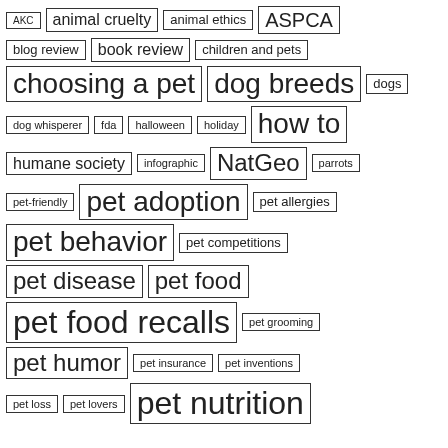[Figure (infographic): Tag cloud of pet-related topics with varying font sizes indicating frequency/importance. Tags include: AKC, animal cruelty, animal ethics, ASPCA, blog review, book review, children and pets, choosing a pet, dog breeds, dogs, dog whisperer, fda, halloween, holiday, how to, humane society, infographic, NatGeo, parrots, pet-friendly, pet adoption, pet allergies, pet behavior, pet competitions, pet disease, pet food, pet food recalls, pet grooming, pet humor, pet insurance, pet inventions, pet loss, pet lovers, pet nutrition. Each tag is displayed in a rectangle border with font size proportional to frequency.]